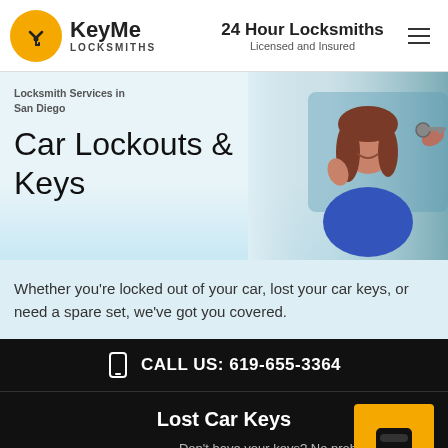KeyMe LOCKSMITHS | 24 Hour Locksmiths Licensed and Insured
Locksmith Services in San Diego
Car Lockouts & Keys
[Figure (photo): Woman in car smiling while receiving car keys from someone outside the vehicle]
Whether you’re locked out of your car, lost your car keys, or need a spare set, we’ve got you covered.
CALL US: 619-655-3364
Lost Car Keys
Don’t have your keys? No problem. We can get you a new set.
Copy Car Keys